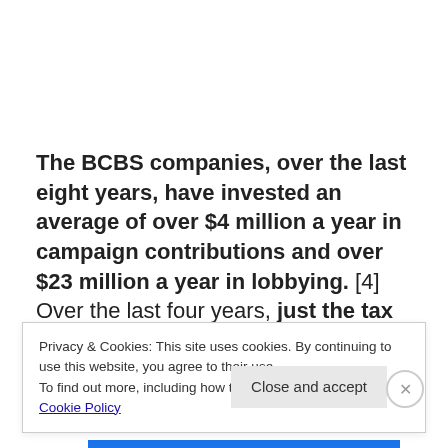The BCBS companies, over the last eight years, have invested an average of over $4 million a year in campaign contributions and over $23 million a year in lobbying. [4] Over the last four years, just the tax refunds they
Privacy & Cookies: This site uses cookies. By continuing to use this website, you agree to their use.
To find out more, including how to control cookies, see here:
Cookie Policy
Close and accept